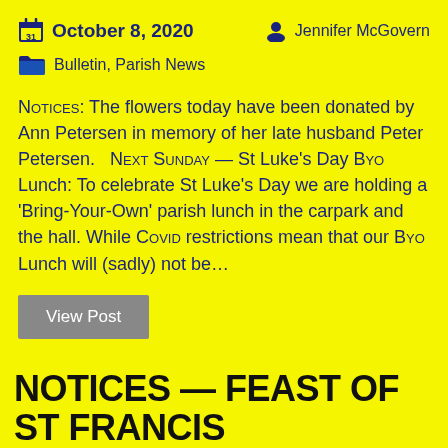October 8, 2020   Jennifer McGovern
Bulletin, Parish News
NOTICES: The flowers today have been donated by Ann Petersen in memory of her late husband Peter Petersen.   NEXT SUNDAY — St Luke's Day BYO Lunch: To celebrate St Luke's Day we are holding a 'Bring-Your-Own' parish lunch in the carpark and the hall. While COVID restrictions mean that our BYO Lunch will (sadly) not be…
View Post
NOTICES — FEAST OF ST FRANCIS